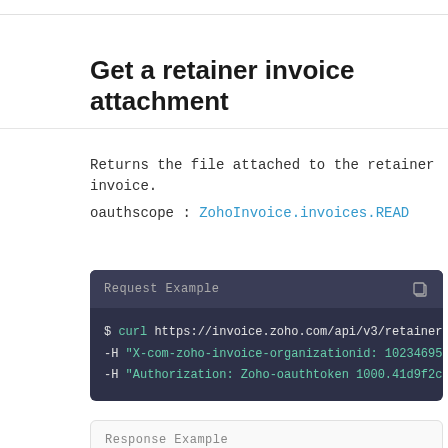Get a retainer invoice attachment
Returns the file attached to the retainer invoice.
oauthscope : ZohoInvoice.invoices.READ
[Figure (screenshot): Request Example code block showing curl command: $ curl https://invoice.zoho.com/api/v3/retainerinv... -H "X-com-zoho-invoice-organizationid: 10234695" -H "Authorization: Zoho-oauthtoken 1000.41d9f2cfbd..."]
Response Example